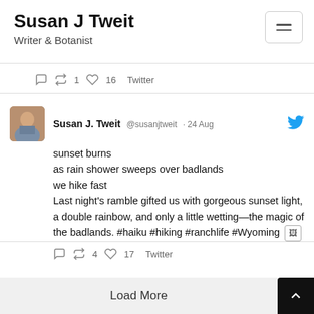Susan J Tweit
Writer & Botanist
↺ 1   ♡ 16   Twitter
[Figure (screenshot): Avatar photo of Susan J. Tweit showing a woman in outdoor clothing]
Susan J. Tweit @susanjtweit · 24 Aug
sunsest burns
as rain shower sweeps over badlands
we hike fast
Last night's ramble gifted us with gorgeous sunset light, a double rainbow, and only a little wetting—the magic of the badlands. #haiku #hiking #ranchlife #Wyoming [image icon]
↺ 4   ♡ 17   Twitter
Load More